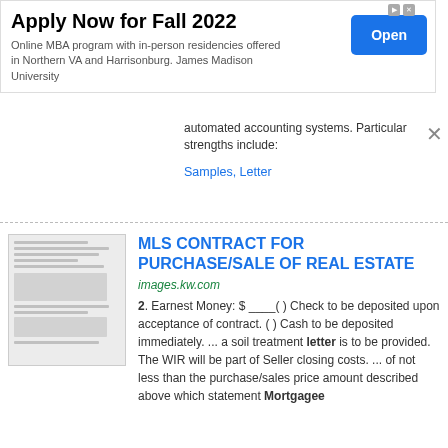[Figure (screenshot): Advertisement banner for James Madison University Online MBA program for Fall 2022 with an Open button]
automated accounting systems. Particular strengths include:
Samples, Letter
MLS CONTRACT FOR PURCHASE/SALE OF REAL ESTATE
images.kw.com
2. Earnest Money: $ ____( ) Check to be deposited upon acceptance of contract. ( ) Cash to be deposited immediately. ... a soil treatment letter is to be provided. The WIR will be part of Seller closing costs. ... of not less than the purchase/sales price amount described above which statement Mortgagee